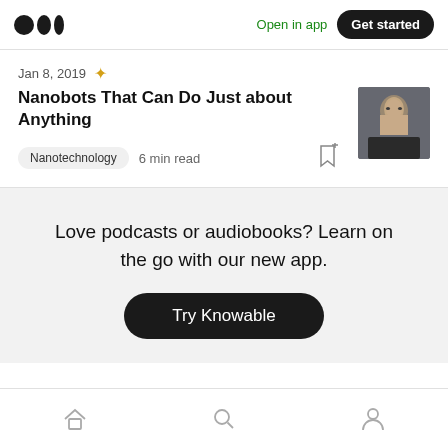Medium logo | Open in app | Get started
Jan 8, 2019
Nanobots That Can Do Just about Anything
Nanotechnology  6 min read
Love podcasts or audiobooks? Learn on the go with our new app.
Try Knowable
Home | Search | Profile